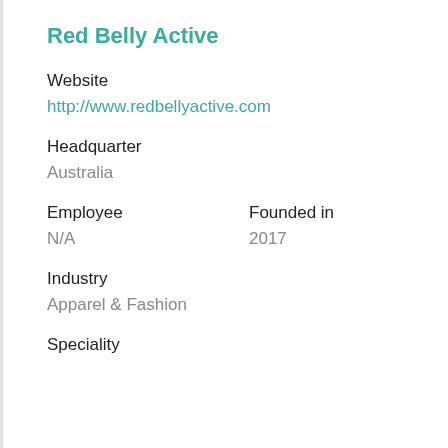Red Belly Active
Website
http://www.redbellyactive.com
Headquarter
Australia
Employee
Founded in
N/A
2017
Industry
Apparel & Fashion
Speciality